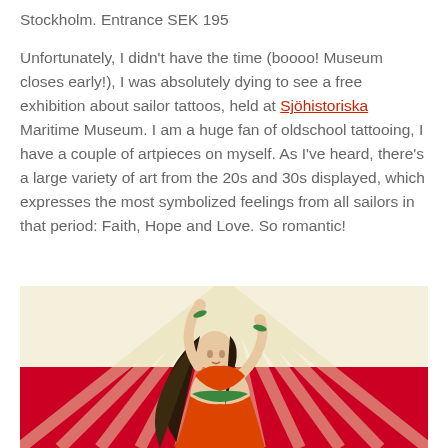Stockholm. Entrance SEK 195
Unfortunately, I didn't have the time (boooo! Museum closes early!), I was absolutely dying to see a free exhibition about sailor tattoos, held at Sjöhistoriska Maritime Museum. I am a huge fan of oldschool tattooing, I have a couple of artpieces on myself. As I've heard, there's a large variety of art from the 20s and 30s displayed, which expresses the most symbolized feelings from all sailors in that period: Faith, Hope and Love. So romantic!
[Figure (illustration): Vintage illustration of a dancing woman in an orange/red costume with flowing dark hair, arms raised, against a background of radiating rays (cream/yellow top half) and solid red (bottom half). Oldschool tattoo art style.]